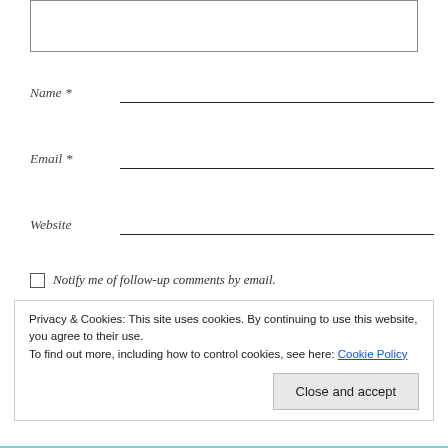[textarea box]
Name *
Email *
Website
Notify me of follow-up comments by email.
Privacy & Cookies: This site uses cookies. By continuing to use this website, you agree to their use.
To find out more, including how to control cookies, see here: Cookie Policy
Close and accept